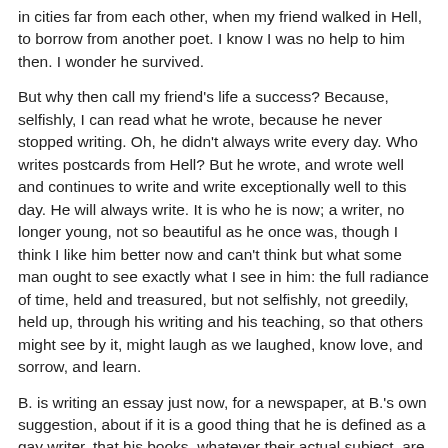in cities far from each other, when my friend walked in Hell, to borrow from another poet. I know I was no help to him then. I wonder he survived.
But why then call my friend's life a success? Because, selfishly, I can read what he wrote, because he never stopped writing. Oh, he didn't always write every day. Who writes postcards from Hell? But he wrote, and wrote well and continues to write and write exceptionally well to this day. He will always write. It is who he is now; a writer, no longer young, not so beautiful as he once was, though I think I like him better now and can't think but what some man ought to see exactly what I see in him: the full radiance of time, held and treasured, but not selfishly, not greedily, held up, through his writing and his teaching, so that others might see by it, might laugh as we laughed, know love, and sorrow, and learn.
B. is writing an essay just now, for a newspaper, at B.'s own suggestion, about if it is a good thing that he is defined as a gay writer, that his books, whatever their actual subject, are kept in the category "Gay" and that this may limit their sales,